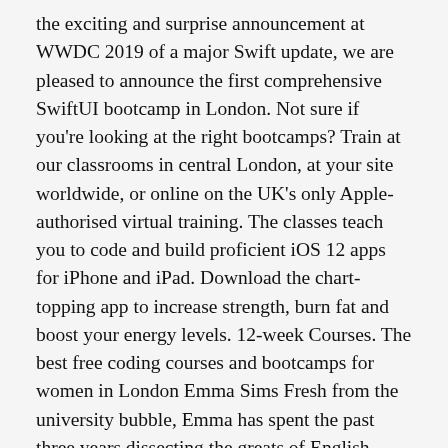the exciting and surprise announcement at WWDC 2019 of a major Swift update, we are pleased to announce the first comprehensive SwiftUI bootcamp in London. Not sure if you're looking at the right bootcamps? Train at our classrooms in central London, at your site worldwide, or online on the UK's only Apple-authorised virtual training. The classes teach you to code and build proficient iOS 12 apps for iPhone and iPad. Download the chart-topping app to increase strength, burn fat and boost your energy levels. 12-week Courses. The best free coding courses and bootcamps for women in London Emma Sims Fresh from the university bubble, Emma has spent the past three years dissecting the greats of English Literature. This coding boot camp will certainly help boost your job prospects at work as many businesses are now introducing their own dedicated apps and need skilled employees. I'm Angela, I'm a developer with a passion for teaching. An intensive, practical course that gets you coding from day one. Learn how to code, design, and market fully functional mobile and web applications. So to help you get the certifications